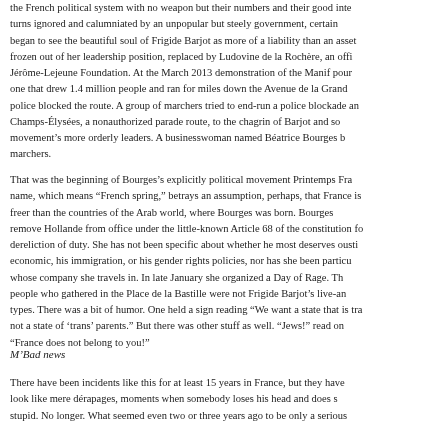the French political system with no weapon but their numbers and their good inte... turns ignored and calumniated by an unpopular but steely government, certain... began to see the beautiful soul of Frigide Barjot as more of a liability than an asset... frozen out of her leadership position, replaced by Ludovine de la Rochère, an offi... Jérôme-Lejeune Foundation. At the March 2013 demonstration of the Manif pour... one that drew 1.4 million people and ran for miles down the Avenue de la Grand... police blocked the route. A group of marchers tried to end-run a police blockade an... Champs-Élysées, a nonauthorized parade route, to the chagrin of Barjot and so... movement's more orderly leaders. A businesswoman named Béatrice Bourges b... marchers.
That was the beginning of Bourges's explicitly political movement Printemps Fra... name, which means "French spring," betrays an assumption, perhaps, that France is... freer than the countries of the Arab world, where Bourges was born. Bourges... remove Hollande from office under the little-known Article 68 of the constitution fo... dereliction of duty. She has not been specific about whether he most deserves ousti... economic, his immigration, or his gender rights policies, nor has she been particu... whose company she travels in. In late January she organized a Day of Rage. Th... people who gathered in the Place de la Bastille were not Frigide Barjot's live-an... types. There was a bit of humor. One held a sign reading "We want a state that is tra... not a state of 'trans' parents." But there was other stuff as well. "Jews!" read on... "France does not belong to you!"
M'Bad news
There have been incidents like this for at least 15 years in France, but they have... look like mere dérapages, moments when somebody loses his head and does s... stupid. No longer. What seemed even two or three years ago to be only a serious...